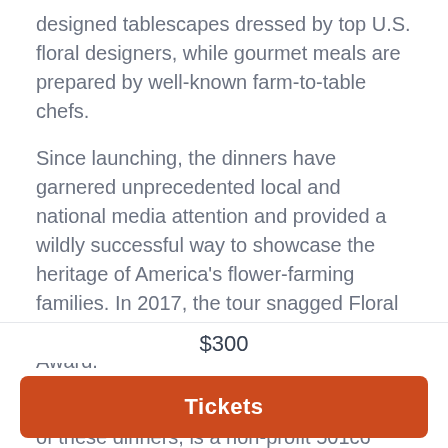designed tablescapes dressed by top U.S. floral designers, while gourmet meals are prepared by well-known farm-to-table chefs.
Since launching, the dinners have garnered unprecedented local and national media attention and provided a wildly successful way to showcase the heritage of America's flower-farming families. In 2017, the tour snagged Floral Management's Marketer of the Year Award.
Certified American Grown, the organizer of these dinners, is a non-profit 501c6 trade association who provides a voice for ONLY American farmers. Proceeds from the Field to Vase Dinner Tour contribute to CAG's advocacy and marketing efforts to promote American
$300
Tickets